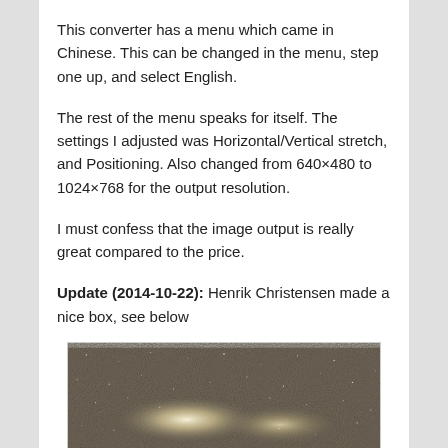This converter has a menu which came in Chinese. This can be changed in the menu, step one up, and select English.
The rest of the menu speaks for itself. The settings I adjusted was Horizontal/Vertical stretch, and Positioning. Also changed from 640×480 to 1024×768 for the output resolution.
I must confess that the image output is really great compared to the price.
Update (2014-10-22):  Henrik Christensen made a nice box, see below
[Figure (photo): A starfield/astronomical image showing a glowing nebula or galaxy against a dark speckled background, partially visible at the bottom of the page.]